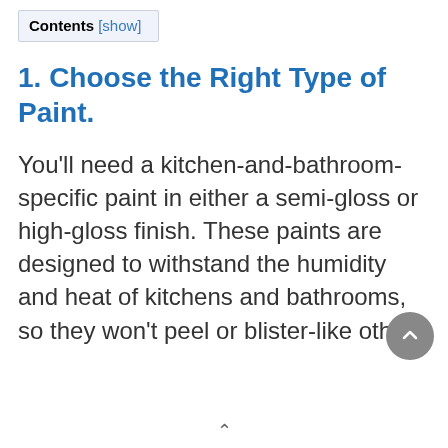| Contents | [show] |
| --- | --- |
1. Choose the Right Type of Paint.
You'll need a kitchen-and-bathroom-specific paint in either a semi-gloss or high-gloss finish. These paints are designed to withstand the humidity and heat of kitchens and bathrooms, so they won't peel or blister-like other